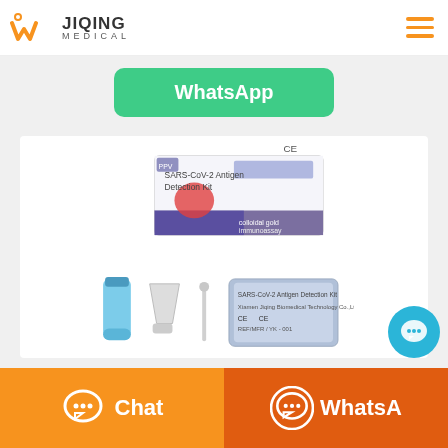[Figure (logo): Jiqing Medical logo with orange W icon and text JIQING MEDICAL]
[Figure (screenshot): Green WhatsApp button on webpage]
[Figure (photo): SARS-CoV-2 Antigen Detection Kit product photo showing test kit box and components including swabs, tubes, and sealed packet]
[Figure (illustration): Floating teal chat bubble button with three dots]
[Figure (illustration): Bottom bar with orange Chat button and dark orange WhatsApp button]